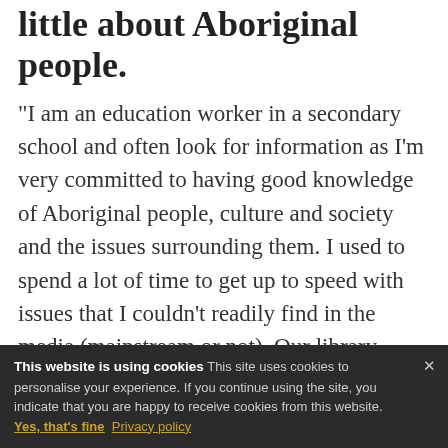little about Aboriginal people.
"I am an education worker in a secondary school and often look for information as I'm very committed to having good knowledge of Aboriginal people, culture and society and the issues surrounding them. I used to spend a lot of time to get up to speed with issues that I couldn't readily find in the media (mainstream or not). Our library doesn't always have the information that I know is out there.
This website is using cookies This site uses cookies to personalise your experience. If you continue using the site, you indicate that you are happy to receive cookies from this website. Yes, that's fine Privacy policy ×